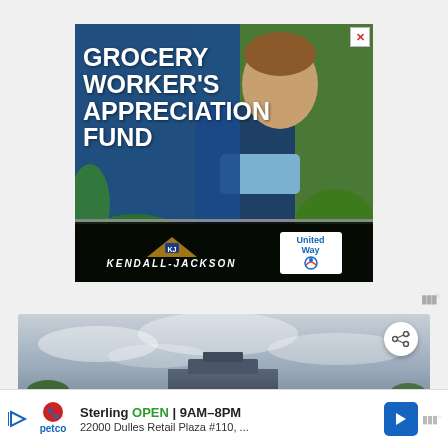[Figure (illustration): Advertisement banner for Grocery Worker's Appreciation Fund sponsored by Kendall-Jackson and United Way, showing a smiling young male grocery worker in a store produce section, with bold white text overlay on blue background]
[Figure (photo): Partial aerial or street-level photo showing cloudy sky and a building rooftop, with a share button overlay]
[Figure (illustration): Petco store ad banner showing Sterling location open 9AM-8PM at 22000 Dulles Retail Plaza #110 with navigation arrow]